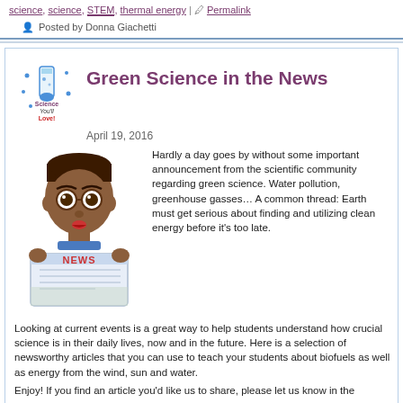science, science, STEM, thermal energy | Permalink
Posted by Donna Giachetti
Green Science in the News
April 19, 2016
[Figure (illustration): Cartoon boy reading a newspaper with NEWS written on it]
[Figure (logo): Science You'll Love logo with test tube and stars]
Hardly a day goes by without some important announcement from the scientific community regarding green science. Water pollution, greenhouse gasses… A common thread: Earth must get serious about finding and utilizing clean energy before it's too late.
Looking at current events is a great way to help students understand how crucial science is in their daily lives, now and in the future. Here is a selection of newsworthy articles that you can use to teach your students about biofuels as well as energy from the wind, sun and water.
Enjoy! If you find an article you'd like us to share, please let us know in the
Read the rest of this entry »
Leave a Comment » | College level, Earth Science, electricity, Elementary